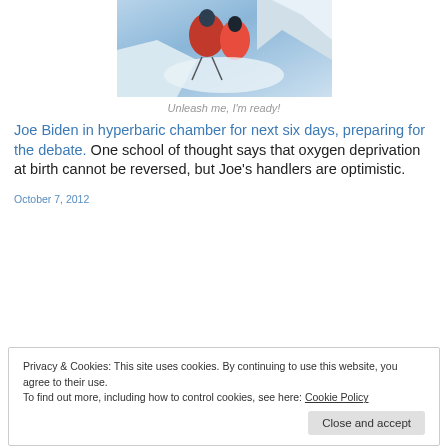[Figure (photo): Two people in red winter jackets on a snowy mountain summit with blue sky and snow-covered peaks in the background.]
Unleash me, I'm ready!
Joe Biden in hyperbaric chamber for next six days, preparing for the debate. One school of thought says that oxygen deprivation at birth cannot be reversed, but Joe's handlers are optimistic.
October 7, 2012
Privacy & Cookies: This site uses cookies. By continuing to use this website, you agree to their use.
To find out more, including how to control cookies, see here: Cookie Policy